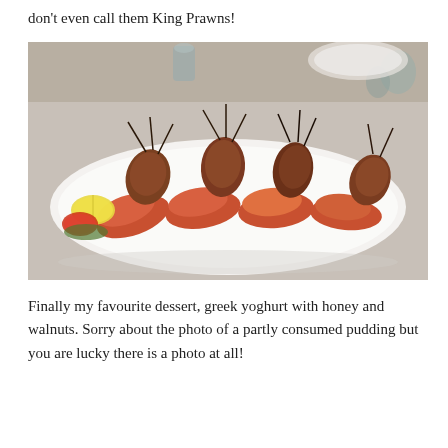don't even call them King Prawns!
[Figure (photo): Photograph of four large grilled king prawns (shrimp) served on a white oval plate, with a lemon wedge and tomato slice as garnish. Restaurant table setting visible in background.]
Finally my favourite dessert, greek yoghurt with honey and walnuts. Sorry about the photo of a partly consumed pudding but you are lucky there is a photo at all!